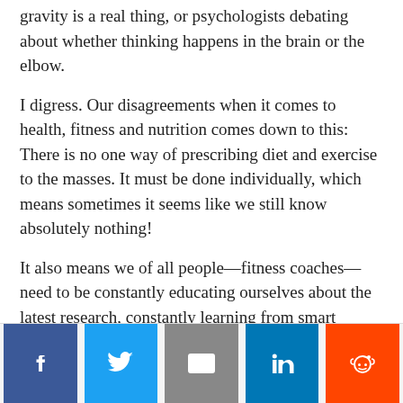gravity is a real thing, or psychologists debating about whether thinking happens in the brain or the elbow.
I digress. Our disagreements when it comes to health, fitness and nutrition comes down to this: There is no one way of prescribing diet and exercise to the masses. It must be done individually, which means sometimes it seems like we still know absolutely nothing!
It also means we of all people—fitness coaches—need to be constantly educating ourselves about the latest research, constantly learning from smart people, so we can do our best to help our clients.
[Figure (infographic): Social sharing buttons: Facebook, Twitter, Email, LinkedIn, Reddit]